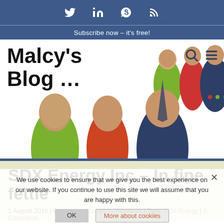Social icons: Twitter, LinkedIn, Skype, RSS
Subscribe now – it's free!
[Figure (illustration): Malcy's Blog logo with stylized pop-art figures in green, red, and blue suits. Blog name 'Malcy's Blog...' in bold black text with search and menu icons.]
SDX Energy Inc – In fine fettle
1 August 2016 | Categories: Company Research | Tags: SDX Energy | 0 Comments
We use cookies to ensure that we give you the best experience on our website. If you continue to use this site we will assume that you are happy with this.